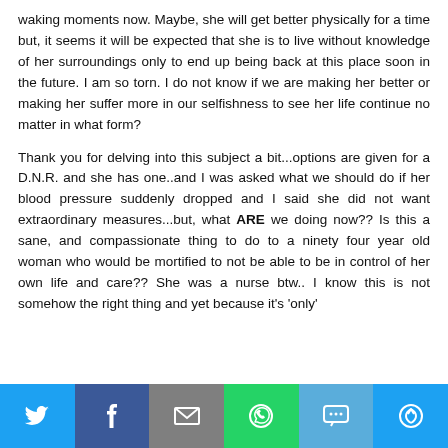waking moments now. Maybe, she will get better physically for a time but, it seems it will be expected that she is to live without knowledge of her surroundings only to end up being back at this place soon in the future. I am so torn. I do not know if we are making her better or making her suffer more in our selfishness to see her life continue no matter in what form?
Thank you for delving into this subject a bit...options are given for a D.N.R. and she has one..and I was asked what we should do if her blood pressure suddenly dropped and I said she did not want extraordinary measures...but, what ARE we doing now?? Is this a sane, and compassionate thing to do to a ninety four year old woman who would be mortified to not be able to be in control of her own life and care?? She was a nurse btw.. I know this is not somehow the right thing and yet because it's 'only'
[Figure (infographic): Social media share bar with six buttons: Twitter (blue bird icon), Facebook (dark blue f icon), Email (grey envelope icon), WhatsApp (green phone/message icon), SMS (light blue SMS bubble icon), More/share (blue circular arrows icon)]